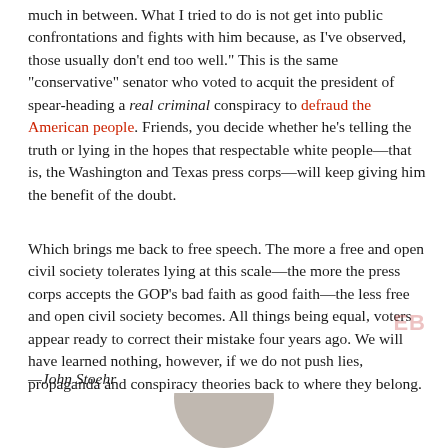much in between. What I tried to do is not get into public confrontations and fights with him because, as I've observed, those usually don't end too well." This is the same "conservative" senator who voted to acquit the president of spear-heading a real criminal conspiracy to defraud the American people. Friends, you decide whether he's telling the truth or lying in the hopes that respectable white people—that is, the Washington and Texas press corps—will keep giving him the benefit of the doubt.
Which brings me back to free speech. The more a free and open civil society tolerates lying at this scale—the more the press corps accepts the GOP's bad faith as good faith—the less free and open civil society becomes. All things being equal, voters appear ready to correct their mistake four years ago. We will have learned nothing, however, if we do not push lies, propaganda and conspiracy theories back to where they belong.
—John Stoehr
[Figure (photo): Partial circular portrait photo at the bottom center of the page, cropped to show only the top of a person's head]